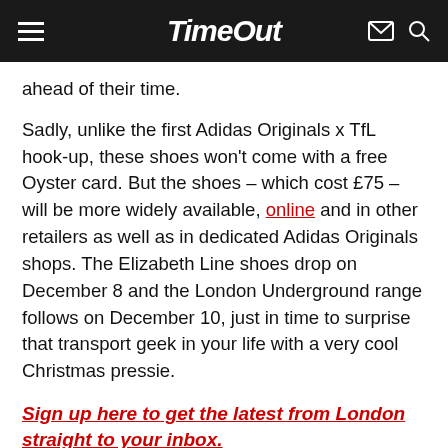Time Out
ahead of their time.
Sadly, unlike the first Adidas Originals x TfL hook-up, these shoes won't come with a free Oyster card. But the shoes – which cost £75 – will be more widely available, online and in other retailers as well as in dedicated Adidas Originals shops. The Elizabeth Line shoes drop on December 8 and the London Underground range follows on December 10, just in time to surprise that transport geek in your life with a very cool Christmas pressie.
Sign up here to get the latest from London straight to your inbox.
James Manning International Editor